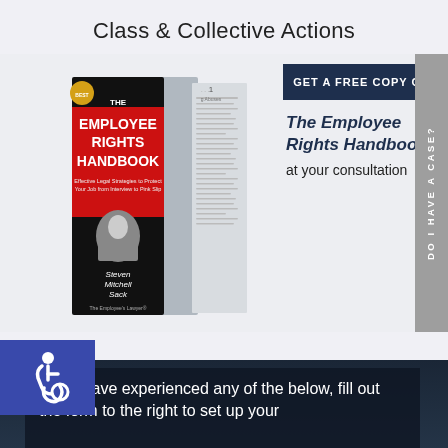Class & Collective Actions
[Figure (illustration): Book cover of 'The Employee Rights Handbook' by Steven Mitchell Sack, shown alongside an open book page. The book has a red and black cover with white text. Next to it is a promotional banner with navy background reading 'GET A FREE COPY OF' and italic text 'The Employee Rights Handbook at your consultation'.]
[Figure (illustration): Accessibility (wheelchair) icon in white on a blue/indigo square background in the bottom-left corner.]
If you have experienced any of the below, fill out the form to the right to set up your